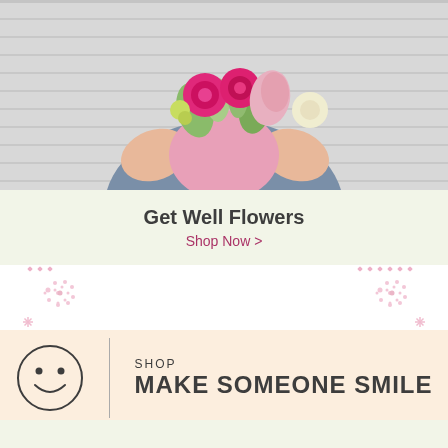[Figure (photo): A person holding a bouquet of pink roses, lilies and green flowers against a light gray wooden background]
Get Well Flowers
Shop Now >
[Figure (infographic): Decorative pink dot/snowflake patterns on white background on left and right sides]
[Figure (infographic): Shop Make Someone Smile banner with smiley face circle icon and vertical divider line on peach/cream background]
Best Sellers
Shop Now >